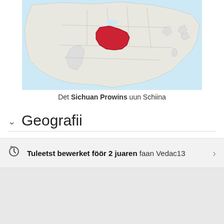[Figure (map): Map of China with Sichuan Province highlighted in red, shown against a light blue ocean background with neighboring countries in light grey.]
Det Sichuan Prowins uun Schiina
Geografii
Kwelen
Tuleetst bewerket föör 2 juaren faan Vedac13